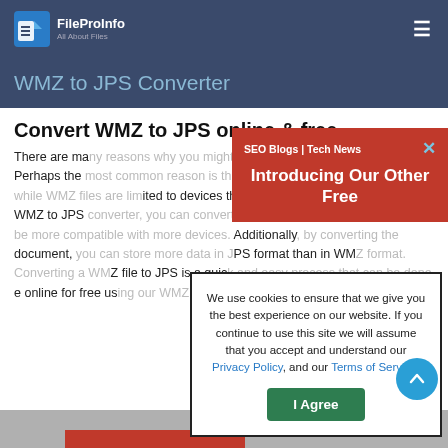FileProInfo — All About Files
WMZ to JPS Converter
Convert WMZ to JPS online & free
There are many reasons why you might want to convert a WMZ file to JPS. Perhaps the most common reason is that JPS can be read on any device, while WMZ files are limited to devices that support WMZ format. By using a WMZ to JPS converter, you can convert your WMZ files as JPS files tend to be more compatible with more devices. Additionally, by converting the document, you can store more data in JPS format than in WMZ format. Converting a WMZ file to JPS is a quick and easy process that can be done online for free using our WMZ to JPS Converter.
[Figure (screenshot): Red popup banner with text: SEO Blogs | Tech News and Introducing Our Other Free]
We use cookies to ensure that we give you the best experience on our website. If you continue to use this site we will assume that you accept and understand our Privacy Policy, and our Terms of Service.
I Agree